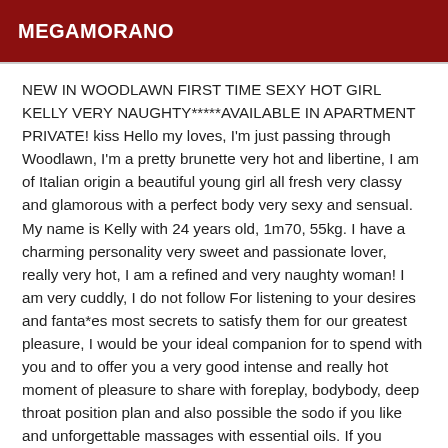MEGAMORANO
NEW IN WOODLAWN FIRST TIME SEXY HOT GIRL KELLY VERY NAUGHTY*****AVAILABLE IN APARTMENT PRIVATE! kiss Hello my loves, I'm just passing through Woodlawn, I'm a pretty brunette very hot and libertine, I am of Italian origin a beautiful young girl all fresh very classy and glamorous with a perfect body very sexy and sensual. My name is Kelly with 24 years old, 1m70, 55kg. I have a charming personality very sweet and passionate lover, really very hot, I am a refined and very naughty woman! I am very cuddly, I do not follow For listening to your desires and fanta*es most secrets to satisfy them for our greatest pleasure, I would be your ideal companion for to spend with you and to offer you a very good intense and really hot moment of pleasure to share with foreplay, bodybody, deep throat position plan and also possible the sodo if you like and unforgettable massages with essential oils. If you